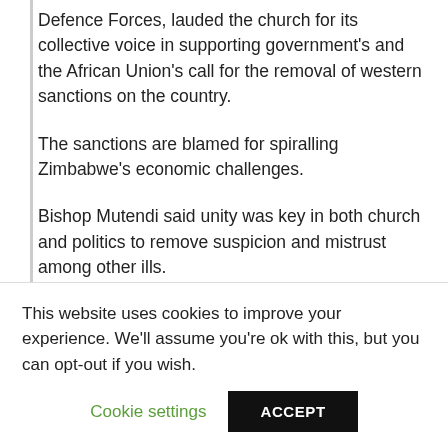Defence Forces, lauded the church for its collective voice in supporting government's and the African Union's call for the removal of western sanctions on the country.
The sanctions are blamed for spiralling Zimbabwe's economic challenges.
Bishop Mutendi said unity was key in both church and politics to remove suspicion and mistrust among other ills.
He said indigenous churches will work with mainline churches for the country's greater good.
“The church cannot preach unity when it is divided,” he
This website uses cookies to improve your experience. We'll assume you're ok with this, but you can opt-out if you wish.